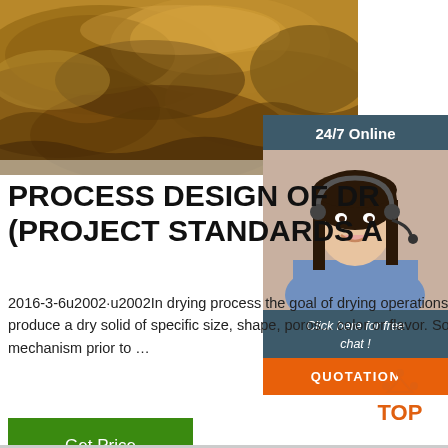[Figure (photo): Close-up photo of dried brown/golden mushrooms or similar dried botanical material on a light surface]
[Figure (infographic): 24/7 Online customer service widget with photo of woman wearing headset, 'Click here for free chat!' text, and orange QUOTATION button]
PROCESS DESIGN OF DR... (PROJECT STANDARDS A...
2016-3-6u2002·u2002In drying process the goal of drying operations is not only to separate a volatile liquid but also produce a dry solid of specific size, shape, porosity, texture, color or flavor. So, well understanding of liquid and vapor mass transfer mechanism prior to …
[Figure (infographic): Green 'Get Price' button]
[Figure (infographic): Orange 'TOP' icon with dots above it]